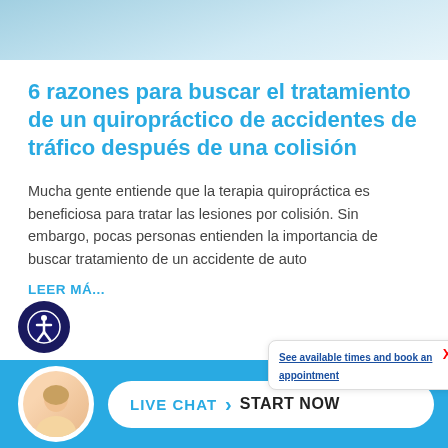[Figure (photo): Top cropped photo showing a person with arms crossed, medical/chiropractic context, light blue tones]
6 razones para buscar el tratamiento de un quiropráctico de accidentes de tráfico después de una colisión
Mucha gente entiende que la terapia quiropráctica es beneficiosa para tratar las lesiones por colisión. Sin embargo, pocas personas entienden la importancia de buscar tratamiento de un accidente de auto
LEER MÁ...
See available times and book an appointment
LIVE CHAT  START NOW
[Figure (photo): Bottom strip showing cropped images, people in medical/chiropractic context]